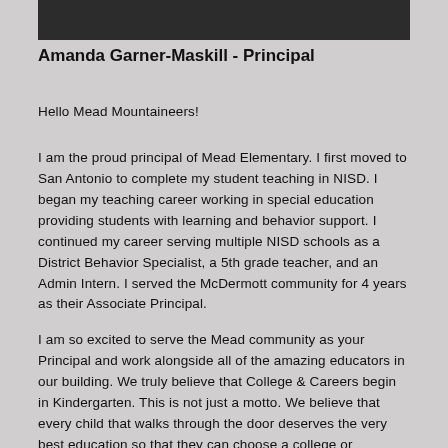[Figure (photo): Top portion of a photo of Amanda Garner-Maskill, Principal, cropped at top of page]
Amanda Garner-Maskill - Principal
Hello Mead Mountaineers!
I am the proud principal of Mead Elementary. I first moved to San Antonio to complete my student teaching in NISD. I began my teaching career working in special education providing students with learning and behavior support. I continued my career serving multiple NISD schools as a District Behavior Specialist, a 5th grade teacher, and an Admin Intern. I served the McDermott community for 4 years as their Associate Principal.
I am so excited to serve the Mead community as your Principal and work alongside all of the amazing educators in our building. We truly believe that College & Careers begin in Kindergarten. This is not just a motto. We believe that every child that walks through the door deserves the very best education so that they can choose a college or